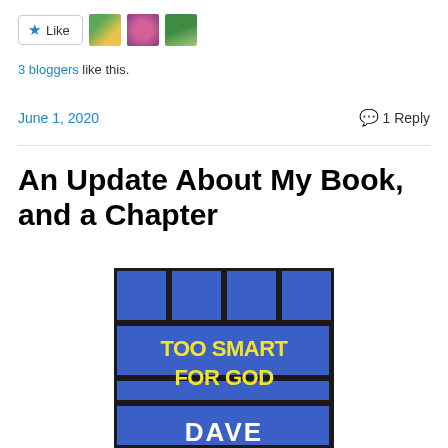[Figure (other): Like button with star icon and three blogger avatar thumbnails]
3 bloggers like this.
June 1, 2020    1 Reply
An Update About My Book, and a Chapter
[Figure (photo): Book cover showing 'TOO SMART FOR GOD' in yellow text on blue grid/panel background, with author name 'DAVE' partially visible at bottom]